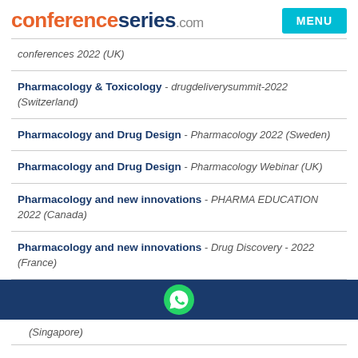conferenceseries.com MENU
conferences 2022 (UK) [truncated top]
Pharmacology & Toxicology - drugdeliverysummit-2022 (Switzerland)
Pharmacology and Drug Design - Pharmacology 2022 (Sweden)
Pharmacology and Drug Design - Pharmacology Webinar (UK)
Pharmacology and new innovations - PHARMA EDUCATION 2022 (Canada)
Pharmacology and new innovations - Drug Discovery - 2022 (France)
(Singapore) [truncated bottom]